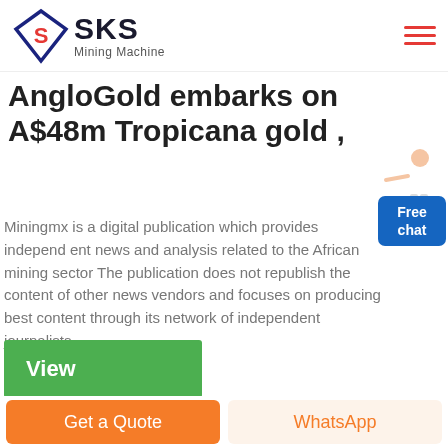SKS Mining Machine
AngloGold embarks on A$48m Tropicana gold ,
Miningmx is a digital publication which provides independent news and analysis related to the African mining sector The publication does not republish the content of other news vendors and focuses on producing best content through its network of independent journalists.
View
very small stone crusher for sale
Get a Quote
WhatsApp